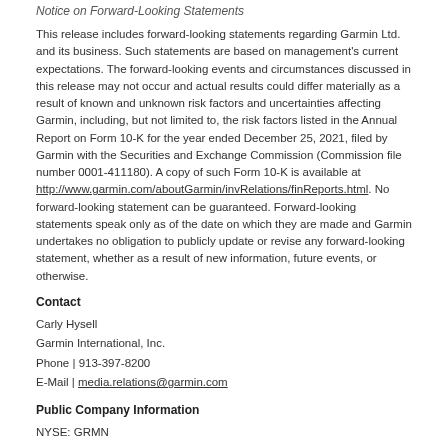Notice on Forward-Looking Statements
This release includes forward-looking statements regarding Garmin Ltd. and its business. Such statements are based on management's current expectations. The forward-looking events and circumstances discussed in this release may not occur and actual results could differ materially as a result of known and unknown risk factors and uncertainties affecting Garmin, including, but not limited to, the risk factors listed in the Annual Report on Form 10-K for the year ended December 25, 2021, filed by Garmin with the Securities and Exchange Commission (Commission file number 0001-411180). A copy of such Form 10-K is available at http://www.garmin.com/aboutGarmin/invRelations/finReports.html. No forward-looking statement can be guaranteed. Forward-looking statements speak only as of the date on which they are made and Garmin undertakes no obligation to publicly update or revise any forward-looking statement, whether as a result of new information, future events, or otherwise.
Contact
Carly Hysell
Garmin International, Inc.
Phone | 913-397-8200
E-Mail | media.relations@garmin.com
Public Company Information
NYSE: GRMN
Images